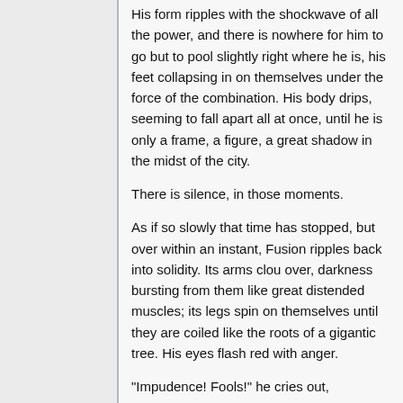His form ripples with the shockwave of all the power, and there is nowhere for him to go but to pool slightly right where he is, his feet collapsing in on themselves under the force of the combination. His body drips, seeming to fall apart all at once, until he is only a frame, a figure, a great shadow in the midst of the city.
There is silence, in those moments.
As if so slowly that time has stopped, but over within an instant, Fusion ripples back into solidity. Its arms clou over, darkness bursting from them like great distended muscles; its legs spin on themselves until they are coiled like the roots of a gigantic tree. His eyes flash red with anger.
"Impudence! Fools!" he cries out,